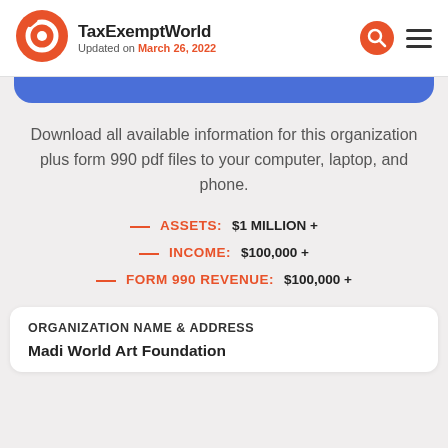TaxExemptWorld — Updated on March 26, 2022
[Figure (logo): TaxExemptWorld circular logo in orange and white]
Download all available information for this organization plus form 990 pdf files to your computer, laptop, and phone.
ASSETS: $1 MILLION +
INCOME: $100,000 +
FORM 990 REVENUE: $100,000 +
ORGANIZATION NAME & ADDRESS
Madi World Art Foundation